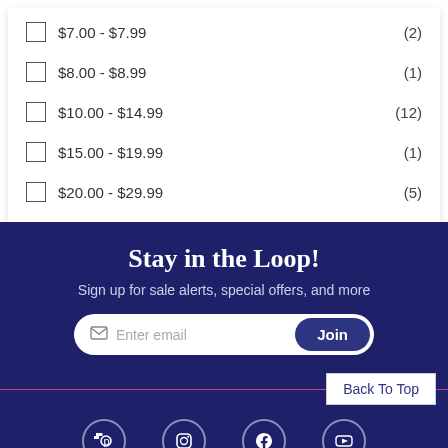$7.00 - $7.99 (2)
$8.00 - $8.99 (1)
$10.00 - $14.99 (12)
$15.00 - $19.99 (1)
$20.00 - $29.99 (5)
Stay in the Loop!
Sign up for sale alerts, special offers, and more
Enter email  Join
Back To Top